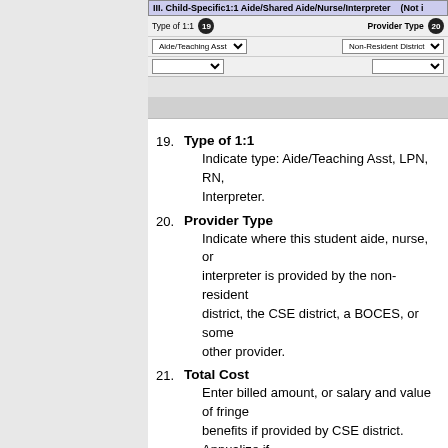[Figure (screenshot): Form section III: Child-Specific 1:1 Aide/Shared Aide/Nurse/Interpreter with fields for Type of 1:1 (badge 19, showing Aide/Teaching Asst dropdown) and Provider Type (badge 20, showing Non-Resident District dropdown)]
19. Type of 1:1 - Indicate type: Aide/Teaching Asst, LPN, RN, Interpreter.
20. Provider Type - Indicate where this student aide, nurse, or interpreter is provided by the non-resident district, the CSE district, a BOCES, or some other provider.
21. Total Cost - Enter billed amount, or salary and value of fringe benefits if provided by CSE district. Annualize if student's FTE is less than 1.
IV. The Related/Other Services Section
[Figure (screenshot): Form section IV: Related/Other Services (Not included in reported cost above) with Service Type (badge 24) and Provider Type (badge 25) fields]